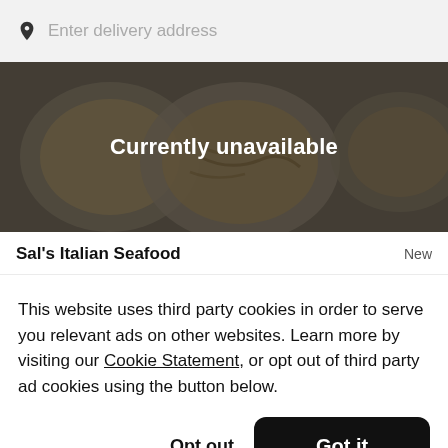Enter delivery address
[Figure (screenshot): Darkened food hero image showing pasta dishes with overlay text 'Currently unavailable']
Currently unavailable
Sal's Italian Seafood
New
This website uses third party cookies in order to serve you relevant ads on other websites. Learn more by visiting our Cookie Statement, or opt out of third party ad cookies using the button below.
Opt out
Got it